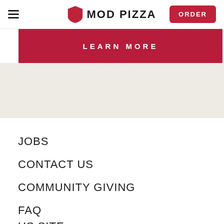MOD PIZZA | ORDER
LEARN MORE
JOBS
CONTACT US
COMMUNITY GIVING
FAQ
US SITE